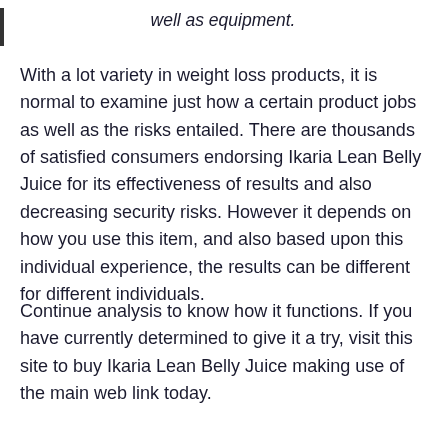well as equipment.
With a lot variety in weight loss products, it is normal to examine just how a certain product jobs as well as the risks entailed. There are thousands of satisfied consumers endorsing Ikaria Lean Belly Juice for its effectiveness of results and also decreasing security risks. However it depends on how you use this item, and also based upon this individual experience, the results can be different for different individuals.
Continue analysis to know how it functions. If you have currently determined to give it a try, visit this site to buy Ikaria Lean Belly Juice making use of the main web link today.